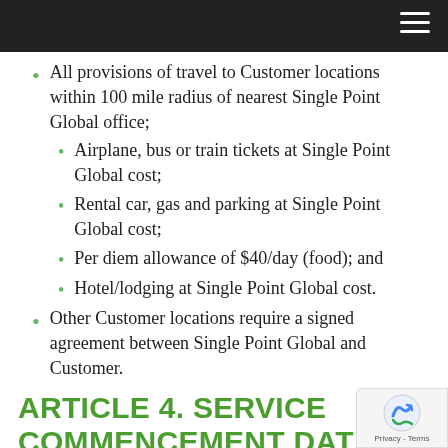All provisions of travel to Customer locations within 100 mile radius of nearest Single Point Global office;
Airplane, bus or train tickets at Single Point Global cost;
Rental car, gas and parking at Single Point Global cost;
Per diem allowance of $40/day (food); and
Hotel/lodging at Single Point Global cost.
Other Customer locations require a signed agreement between Single Point Global and Customer.
ARTICLE 4. SERVICE COMMENCEMENT DATE
The Services Commencement Date shall be the earlier of: A) the date on which the ordered Services are activ... on the first newly contracted Customer Device by S... Point Global; or (B) 60 days from the date the Sales Order